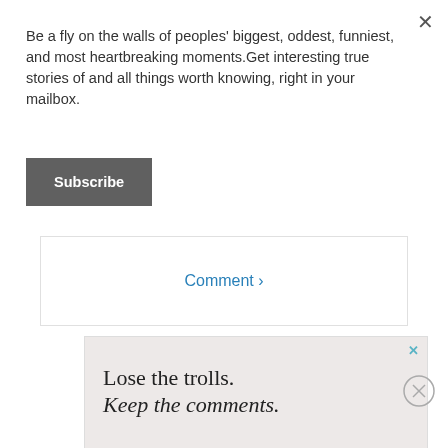×
Be a fly on the walls of peoples' biggest, oddest, funniest, and most heartbreaking moments.Get interesting true stories of and all things worth knowing, right in your mailbox.
Subscribe
Comment ›
[Figure (screenshot): Advertisement banner with pink/beige background. Text reads: 'Lose the trolls. Keep the comments.' followed by 'It's time to save online conversation.' with a 'Learn more' button and OpenWeb logo at the bottom.]